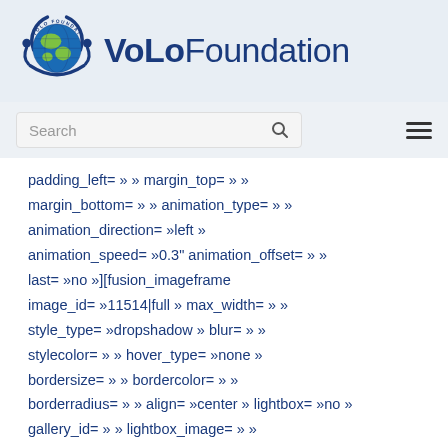[Figure (logo): VoLo Foundation logo with globe and circular people figures, text 'VoLoFoundation']
Search
padding_left= » » margin_top= » » margin_bottom= » » animation_type= » » animation_direction= »left » animation_speed= »0.3" animation_offset= » » last= »no »][fusion_imageframe image_id= »11514|full » max_width= » » style_type= »dropshadow » blur= » » stylecolor= » » hover_type= »none » bordersize= » » bordercolor= » » borderradius= » » align= »center » lightbox= »no » gallery_id= » » lightbox_image= » » lightbox_image_id= » » alt= » » link= » »